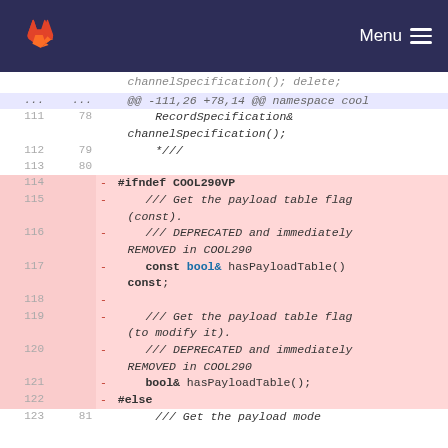Menu (GitLab navigation bar)
[Figure (screenshot): GitLab code diff view showing lines 111-123 with lines 114-122 deleted (red background). Deleted lines include #ifndef COOL290VP, deprecated hasPayloadTable() methods, and #else directive.]